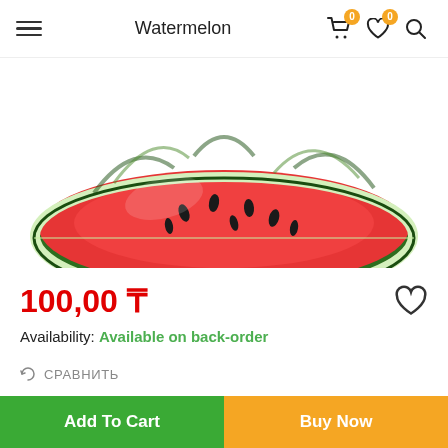Watermelon
[Figure (photo): Half watermelon showing red flesh, viewed from above, partially cropped at top of page]
100,00 ₸
Availability: Available on back-order
СРАВНИТЬ
Category:  Watermelon
Tags: КХ"Gari 2"